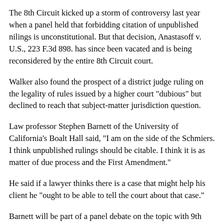The 8th Circuit kicked up a storm of controversy last year when a panel held that forbidding citation of unpublished nilings is unconstitutional. But that decision, Anastasoff v. U.S., 223 F.3d 898. has since been vacated and is being reconsidered by the entire 8th Circuit court.
Walker also found the prospect of a district judge ruling on the legality of rules issued by a higher court "dubious" but declined to reach that subject-matter jurisdiction question.
Law professor Stephen Barnett of the University of California's Boalt Hall said, "I am on the side of the Schmiers. I think unpublished rulings should be citable. I think it is as matter of due process and the First Amendment."
He said if a lawyer thinks there is a case that might help his client he "ought to be able to tell the court about that case."
Barnett will be part of a panel debate on the topic with 9th Circtiit Judge Alex Kozinski at the Bar Association of San Francisco on April 25.
The Schmiers have established a Web site on the issue, www.nonpublication.com.